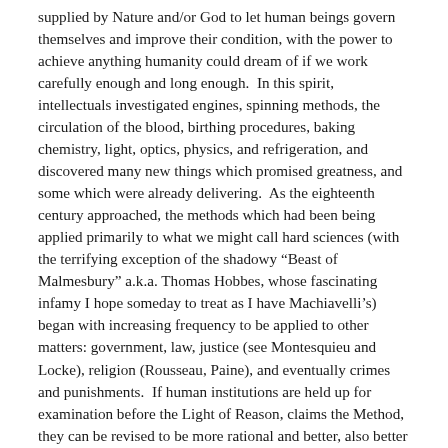supplied by Nature and/or God to let human beings govern themselves and improve their condition, with the power to achieve anything humanity could dream of if we work carefully enough and long enough.  In this spirit, intellectuals investigated engines, spinning methods, the circulation of the blood, birthing procedures, baking chemistry, light, optics, physics, and refrigeration, and discovered many new things which promised greatness, and some which were already delivering.  As the eighteenth century approached, the methods which had been being applied primarily to what we might call hard sciences (with the terrifying exception of the shadowy “Beast of Malmesbury” a.k.a. Thomas Hobbes, whose fascinating infamy I hope someday to treat as I have Machiavelli’s) began with increasing frequency to be applied to other matters: government, law, justice (see Montesquieu and Locke), religion (Rousseau, Paine), and eventually crimes and punishments.  If human institutions are held up for examination before the Light of Reason, claims the Method, they can be revised to be more rational and better, also better in line with Nature – with these improvements we will make a better world.  It was this effort which was spearheaded by the great lights we remember: the Encyclopedia Project, Voltaire, Diderot, d’Holbach, d’Alambert, Franklin, Jefferson,  and taken even further by other more chilling figures like La Mettrie and Sade.